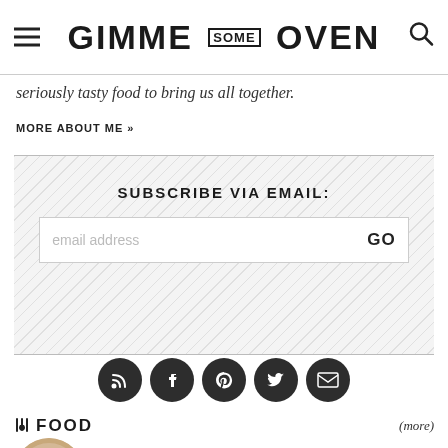GIMME SOME OVEN
seriously tasty food to bring us all together.
MORE ABOUT ME »
SUBSCRIBE VIA EMAIL:
email address  GO
[Figure (infographic): Five social media icon buttons (RSS, Facebook, Pinterest, Twitter, Email) as dark circular icons]
🍴 FOOD
(more)
[Figure (photo): Circular photo of muesli/granola food item]
MUESLI